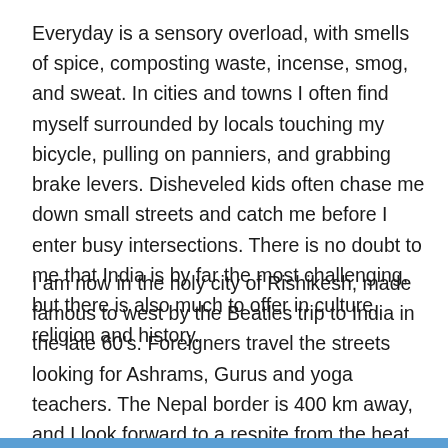Everyday is a sensory overload, with smells of spice, composting waste, incense, smog, and sweat. In cities and towns I often find myself surrounded by locals touching my bicycle, pulling on panniers, and grabbing brake levers. Disheveled kids often chase me down small streets and catch me before I enter busy intersections. There is no doubt to me that India is by far the most challenging, but there is also much to offer in culture, religion and history.
I am now in the holy city of Rishikesh, made famous to west by the Beatles trip to India in the late 60's. Foreigners travel the streets looking for Ashrams, Gurus and yoga teachers. The Nepal border is 400 km away, and I look forward to a respite from the heat, and chaos of the cities.The foothills will soon make way to the Himalayas.